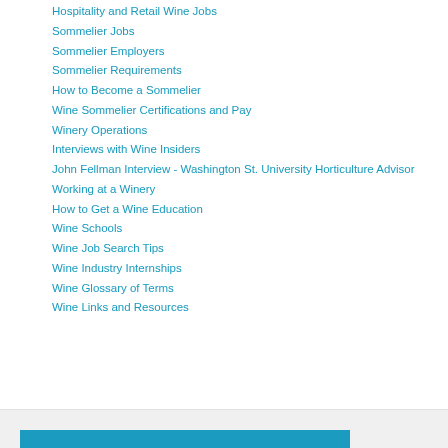Hospitality and Retail Wine Jobs
Sommelier Jobs
Sommelier Employers
Sommelier Requirements
How to Become a Sommelier
Wine Sommelier Certifications and Pay
Winery Operations
Interviews with Wine Insiders
John Fellman Interview - Washington St. University Horticulture Advisor
Working at a Winery
How to Get a Wine Education
Wine Schools
Wine Job Search Tips
Wine Industry Internships
Wine Glossary of Terms
Wine Links and Resources